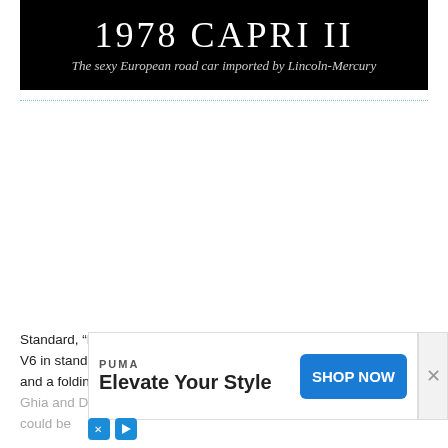[Figure (other): Black banner header with '1978 CAPRI II' in large white serif font and subtitle 'The sexy European road car imported by Lincoln-Mercury' in italic white text]
Standard, “Decor”, Ghia, and “S” trims were available. Mine was a V6 in standard trim, in white with caramel-colored vinyl upholstery and a folding rear seat where the rear seat… The Ghia and Decor trims offered upgraded… back could be…
[Figure (other): Advertisement overlay: PUMA brand, 'Elevate Your Style' tagline, blue 'SHOP NOW' button, with close X button on right and social media icons at bottom left]